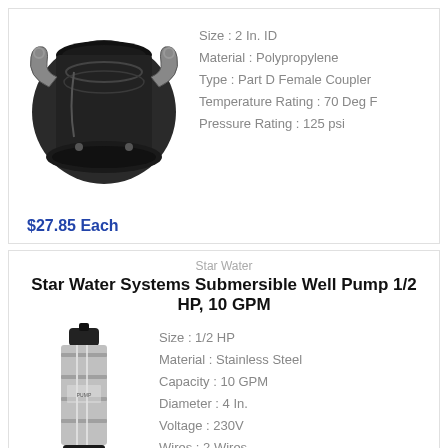[Figure (photo): Black polypropylene Part D female coupler with stainless steel cam arms, 2 inch ID]
Size : 2 In. ID
Material : Polypropylene
Type : Part D Female Coupler
Temperature Rating : 70 Deg F
Pressure Rating : 125 psi
$27.85 Each
Star Water
Star Water Systems Submersible Well Pump 1/2 HP, 10 GPM
[Figure (photo): Stainless steel submersible well pump, tall cylindrical shape with black top and bottom connectors]
Size : 1/2 HP
Material : Stainless Steel
Capacity : 10 GPM
Diameter : 4 In.
Voltage : 230V
Wires : 2 Wires